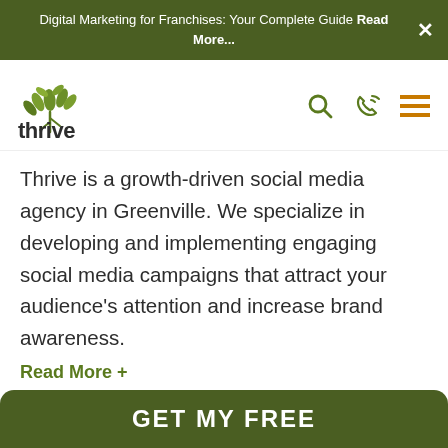Digital Marketing for Franchises: Your Complete Guide Read More...
[Figure (logo): Thrive logo with green leaf/plant icon above the word 'thrive' in dark bold text]
Thrive is a growth-driven social media agency in Greenville. We specialize in developing and implementing engaging social media campaigns that attract your audience’s attention and increase brand awareness.
Read More +
GET MY FREE